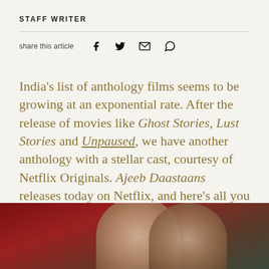STAFF WRITER
share this article
India's list of anthology films seems to be growing at an exponential rate. After the release of movies like Ghost Stories, Lust Stories and Unpaused, we have another anthology with a stellar cast, courtesy of Netflix Originals. Ajeeb Daastaans releases today on Netflix, and here's all you need to know about the story and its cast.
[Figure (photo): Movie poster image for Ajeeb Daastaans showing cast members in circular frames against a dark red background]